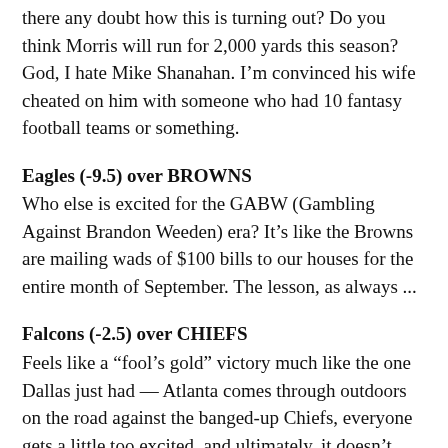there any doubt how this is turning out? Do you think Morris will run for 2,000 yards this season? God, I hate Mike Shanahan. I'm convinced his wife cheated on him with someone who had 10 fantasy football teams or something.
Eagles (-9.5) over BROWNS
Who else is excited for the GABW (Gambling Against Brandon Weeden) era? It's like the Browns are mailing wads of $100 bills to our houses for the entire month of September. The lesson, as always ...
Falcons (-2.5) over CHIEFS
Feels like a “fool’s gold” victory much like the one Dallas just had — Atlanta comes through outdoors on the road against the banged-up Chiefs, everyone gets a little too excited, and ultimately, it doesn’t mean much. Here’s where I remind you that Rex Grossman and the Redskins beat the Giants in